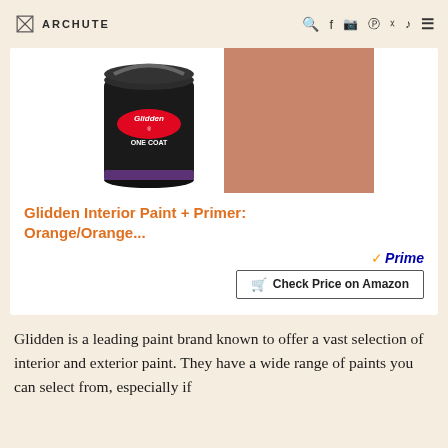ARCHUTE
[Figure (photo): Glidden One Coat paint can next to an orange-terracotta color swatch]
Glidden Interior Paint + Primer: Orange/Orange...
✓Prime
🛒 Check Price on Amazon
Glidden is a leading paint brand known to offer a vast selection of interior and exterior paint. They have a wide range of paints you can select from, especially if